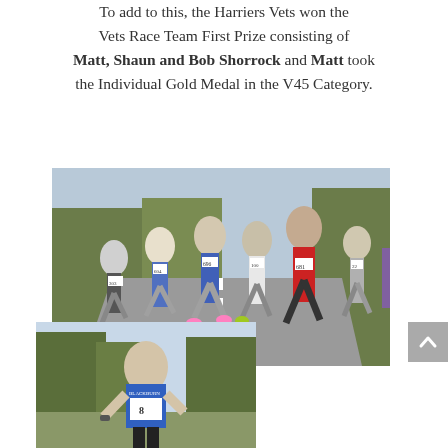To add to this, the Harriers Vets won the Vets Race Team First Prize consisting of Matt, Shaun and Bob Shorrock and Matt took the Individual Gold Medal in the V45 Category.
[Figure (photo): Group of male runners racing on a road during a road race, with runners wearing numbered bibs including 696, 681, 22, and others.]
[Figure (photo): Single male runner in blue vest with race number 8, running outdoors with trees in background.]